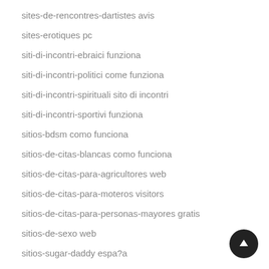sites-de-rencontres-dartistes avis
sites-erotiques pc
siti-di-incontri-ebraici funziona
siti-di-incontri-politici come funziona
siti-di-incontri-spirituali sito di incontri
siti-di-incontri-sportivi funziona
sitios-bdsm como funciona
sitios-de-citas-blancas como funciona
sitios-de-citas-para-agricultores web
sitios-de-citas-para-moteros visitors
sitios-de-citas-para-personas-mayores gratis
sitios-de-sexo web
sitios-sugar-daddy espa?a